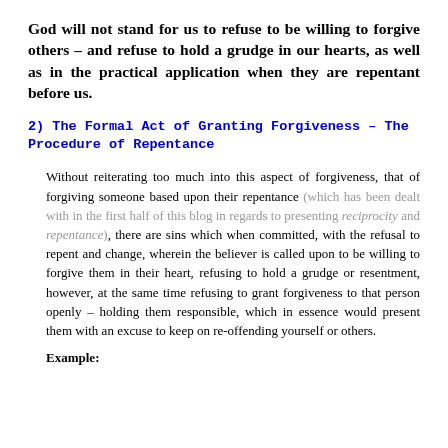God will not stand for us to refuse to be willing to forgive others – and refuse to hold a grudge in our hearts, as well as in the practical application when they are repentant before us.
2) The Formal Act of Granting Forgiveness – The Procedure of Repentance
Without reiterating too much into this aspect of forgiveness, that of forgiving someone based upon their repentance (which has been dealt with in the first half of this blog in regards to presenting reciprocity and repentance), there are sins which when committed, with the refusal to repent and change, wherein the believer is called upon to be willing to forgive them in their heart, refusing to hold a grudge or resentment, however, at the same time refusing to grant forgiveness to that person openly – holding them responsible, which in essence would present them with an excuse to keep on re-offending yourself or others.
Example: